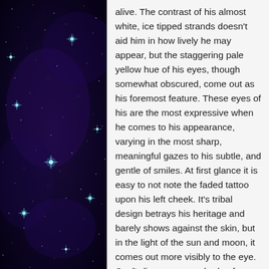[Figure (photo): A dark starfield photo showing a night sky with deep blue-purple tones and bright teal/white star points of varying sizes scattered throughout.]
alive. The contrast of his almost white, ice tipped strands doesn't aid him in how lively he may appear, but the staggering pale yellow hue of his eyes, though somewhat obscured, come out as his foremost feature. These eyes of his are the most expressive when he comes to his appearance, varying in the most sharp, meaningful gazes to his subtle, and gentle of smiles. At first glance it is easy to not note the faded tattoo upon his left cheek. It's tribal design betrays his heritage and barely shows against the skin, but in the light of the sun and moon, it comes out more visibly to the eye. Cael's lips appear a shade of gray darker than his flesh in comparison though the faint scar of once having a lip piercing can be seen when up close.